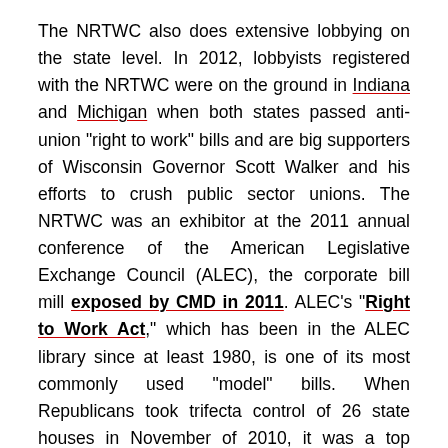The NRTWC also does extensive lobbying on the state level. In 2012, lobbyists registered with the NRTWC were on the ground in Indiana and Michigan when both states passed anti-union "right to work" bills and are big supporters of Wisconsin Governor Scott Walker and his efforts to crush public sector unions. The NRTWC was an exhibitor at the 2011 annual conference of the American Legislative Exchange Council (ALEC), the corporate bill mill exposed by CMD in 2011. ALEC's "Right to Work Act," which has been in the ALEC library since at least 1980, is one of its most commonly used "model" bills. When Republicans took trifecta control of 26 state houses in November of 2010, it was a top agenda item at the December 2010 ALEC meeting. According to a 2010 email from ALEC to Wisconsin legislators that CMD obtained, ALEC referred to its "Right to Work Act" as a "solution... for your state's